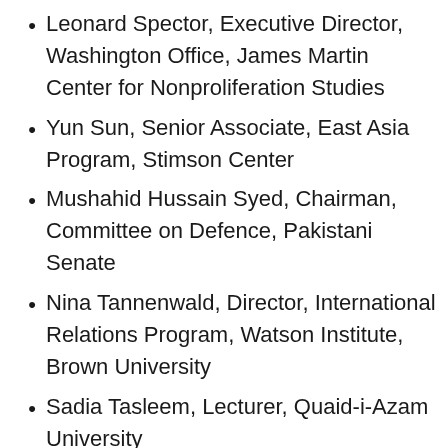Leonard Spector, Executive Director, Washington Office, James Martin Center for Nonproliferation Studies
Yun Sun, Senior Associate, East Asia Program, Stimson Center
Mushahid Hussain Syed, Chairman, Committee on Defence, Pakistani Senate
Nina Tannenwald, Director, International Relations Program, Watson Institute, Brown University
Sadia Tasleem, Lecturer, Quaid-i-Azam University
Ashley Tellis, Former Senior Adviser to the U.S. Under Secretary of State for